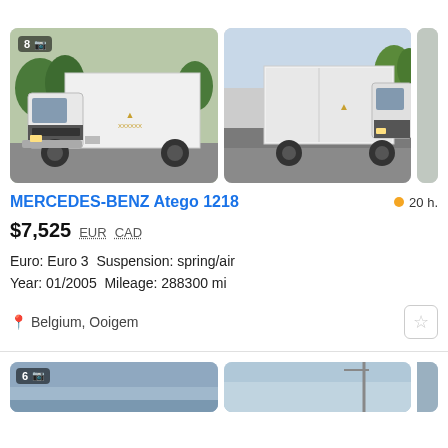[Figure (photo): White Mercedes-Benz Atego 1218 box truck photographed from front-left angle on a road, showing cab and cargo box with logo. Badge showing 8 photos.]
[Figure (photo): White Mercedes-Benz Atego 1218 box truck photographed from front-right angle on a road, showing cargo box front and cab.]
MERCEDES-BENZ Atego 1218
20 h.
$7,525  EUR  CAD
Euro: Euro 3  Suspension: spring/air
Year: 01/2005  Mileage: 288300 mi
Belgium, Ooigem
[Figure (photo): Bottom partial photo strip showing another truck listing — sky and truck roof visible.]
[Figure (photo): Bottom partial photo strip second image — sky visible.]